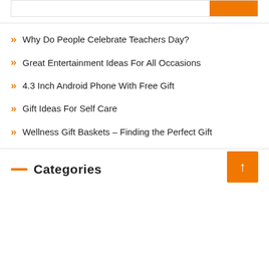Why Do People Celebrate Teachers Day?
Great Entertainment Ideas For All Occasions
4.3 Inch Android Phone With Free Gift
Gift Ideas For Self Care
Wellness Gift Baskets – Finding the Perfect Gift
Categories